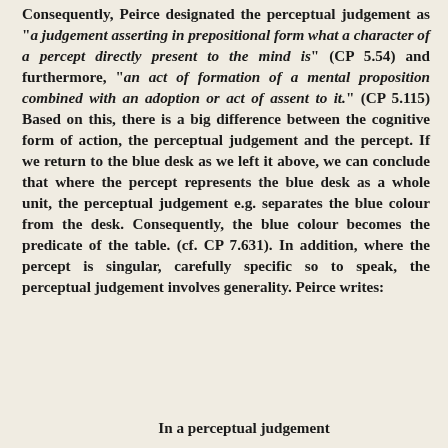Consequently, Peirce designated the perceptual judgement as "a judgement asserting in prepositional form what a character of a percept directly present to the mind is" (CP 5.54) and furthermore, "an act of formation of a mental proposition combined with an adoption or act of assent to it." (CP 5.115) Based on this, there is a big difference between the cognitive form of action, the perceptual judgement and the percept. If we return to the blue desk as we left it above, we can conclude that where the percept represents the blue desk as a whole unit, the perceptual judgement e.g. separates the blue colour from the desk. Consequently, the blue colour becomes the predicate of the table. (cf. CP 7.631). In addition, where the percept is singular, carefully specific so to speak, the perceptual judgement involves generality. Peirce writes:
In a perceptual judgement